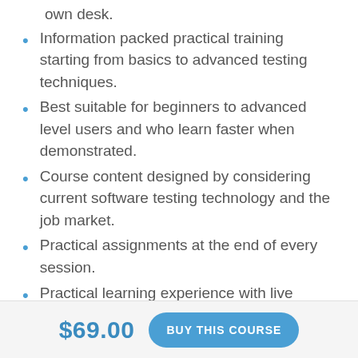own desk.
Information packed practical training starting from basics to advanced testing techniques.
Best suitable for beginners to advanced level users and who learn faster when demonstrated.
Course content designed by considering current software testing technology and the job market.
Practical assignments at the end of every session.
Practical learning experience with live project work and examples.
COURSE FEATURES
$69.00
BUY THIS COURSE